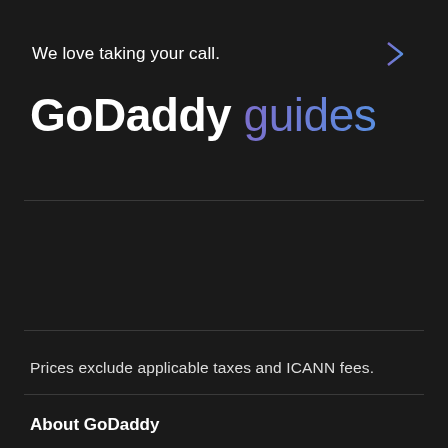We love taking your call.
GoDaddy guides
Prices exclude applicable taxes and ICANN fees.
About GoDaddy
About Us